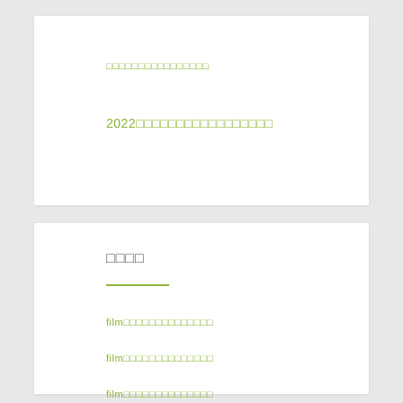□□□□□□□□□□□□□□□□
2022□□□□□□□□□□□□□□□□□
□□□□
film□□□□□□□□□□□□□□
film□□□□□□□□□□□□□□
film□□□□□□□□□□□□□□
film□□□□□□□□□□□□□□
film□□□□□□□□□□□□□□